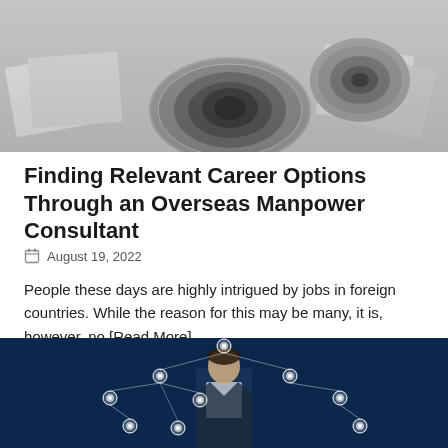[Figure (photo): Grayscale photo of camera lenses and scattered photographs on a surface]
Finding Relevant Career Options Through an Overseas Manpower Consultant
August 19, 2022
People these days are highly intrigued by jobs in foreign countries. While the reason for this may be many, it is, however, no [Read More]
[Figure (photo): Dark blue background with a businessman and network of person icons connected in a hierarchy diagram]